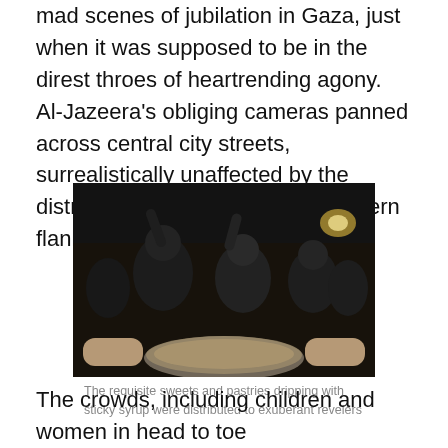mad scenes of jubilation in Gaza, just when it was supposed to be in the direst throes of heartrending agony. Al-Jazeera's obliging cameras panned across central city streets, surrealistically unaffected by the distress in the Strip's outlying eastern flanks.
[Figure (photo): Nighttime crowd scene showing men celebrating, one in a black t-shirt with arm raised, another in a white shirt, while hands in foreground hold a plate of sweets/pastries.]
The requisite sweets and pastries dripping with sticky syrup were distributed to exuberant revelers
The crowds, including children and women in head to toe